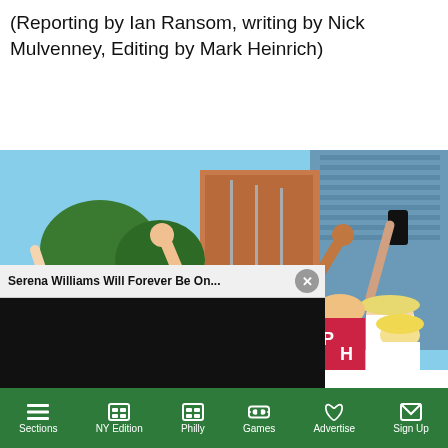(Reporting by Ian Ransom, writing by Nick Mulvenney, Editing by Mark Heinrich)
[Figure (photo): Crowd of fans cheering with fists raised in front of a glass office building on a sunny day]
[Figure (screenshot): Video player overlay with title 'Serena Williams Will Forever Be On...' and a black loading screen with mute button and spinner]
Fans of tennis player Novak Djokovic show their
Sections  NY Edition  Philly  Games  Advertise  Sign Up